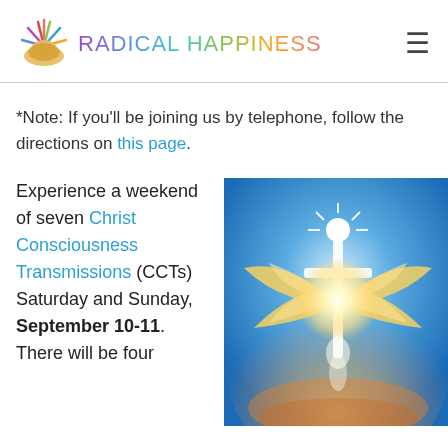RADICAL HAPPINESS
*Note: If you’ll be joining us by telephone, follow the directions on this page.
Experience a weekend of seven Christ Consciousness Transmissions (CCTs) Saturday and Sunday, September 10-11. There will be four
[Figure (illustration): A radiant angelic figure with golden wings surrounded by bright white light against a blue sky background, spiritual artwork]